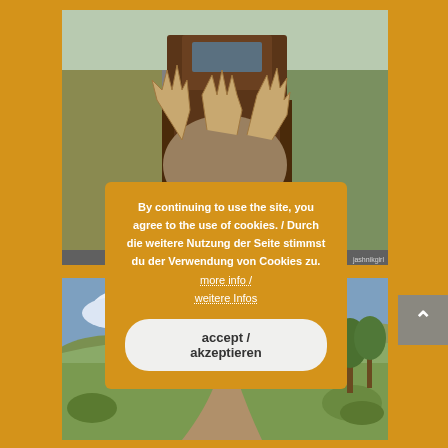[Figure (photo): Photograph of a truck bed loaded with multiple dead elk/deer with large antlers, viewed from behind on a rural road. Vegetation and countryside visible on the sides.]
[Figure (photo): Landscape photograph showing open grassland and hills under a partly cloudy sky.]
By continuing to use the site, you agree to the use of cookies. / Durch die weitere Nutzung der Seite stimmst du der Verwendung von Cookies zu. more info / weitere Infos
accept / akzeptieren